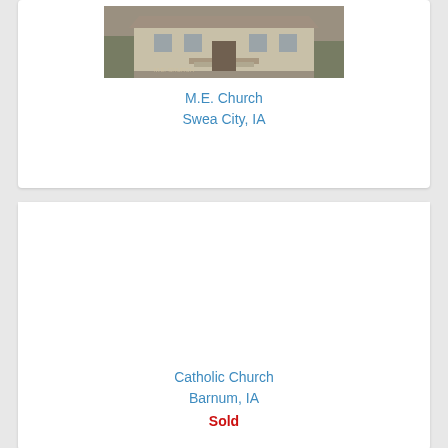[Figure (photo): Sepia-toned historical photograph of M.E. Church building with steps leading to entrance, trees in background]
M.E. Church
Swea City, IA
[Figure (photo): Empty/missing image area for Catholic Church Barnum IA listing]
Catholic Church
Barnum, IA
Sold